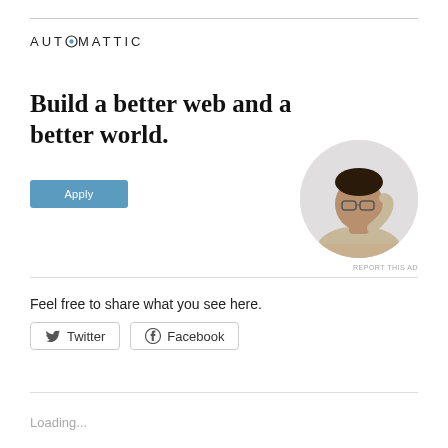[Figure (logo): Automattic logo with stylized O containing a blue circle]
Build a better web and a better world.
[Figure (photo): Circular cropped photo of a man with glasses looking upward, resting chin on hand, seated at a desk]
Apply
REPORT THIS AD
Feel free to share what you see here.
Twitter   Facebook
Loading...